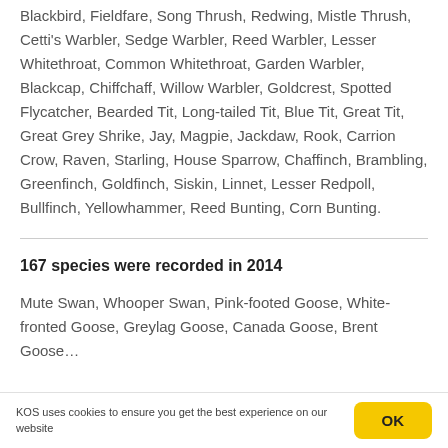Blackbird, Fieldfare, Song Thrush, Redwing, Mistle Thrush, Cetti's Warbler, Sedge Warbler, Reed Warbler, Lesser Whitethroat, Common Whitethroat, Garden Warbler, Blackcap, Chiffchaff, Willow Warbler, Goldcrest, Spotted Flycatcher, Bearded Tit, Long-tailed Tit, Blue Tit, Great Tit, Great Grey Shrike, Jay, Magpie, Jackdaw, Rook, Carrion Crow, Raven, Starling, House Sparrow, Chaffinch, Brambling, Greenfinch, Goldfinch, Siskin, Linnet, Lesser Redpoll, Bullfinch, Yellowhammer, Reed Bunting, Corn Bunting.
167 species were recorded in 2014
Mute Swan, Whooper Swan, Pink-footed Goose, White-fronted Goose, Greylag Goose, Canada Goose, Brent Goose...
KOS uses cookies to ensure you get the best experience on our website   OK